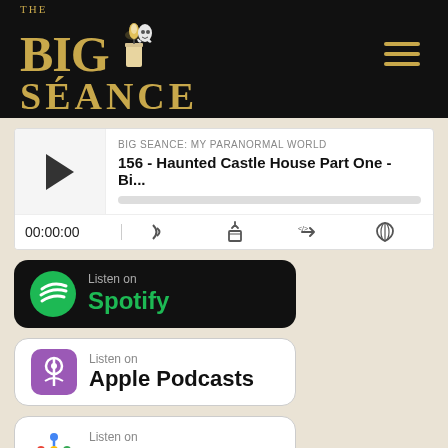[Figure (logo): The Big Seance podcast logo with candle on black background header bar, with hamburger menu icon]
[Figure (screenshot): Podcast player widget showing 'BIG SEANCE: MY PARANORMAL WORLD' and episode '156 - Haunted Castle House Part One - Bi...' with play button and time 00:00:00 and playback controls]
[Figure (other): Listen on Spotify badge - black background with green Spotify logo and text]
[Figure (other): Listen on Apple Podcasts badge - white background with purple podcast icon]
[Figure (other): Listen on Google Podcasts badge - white background with colorful Google Podcasts icon]
Other Listening Options